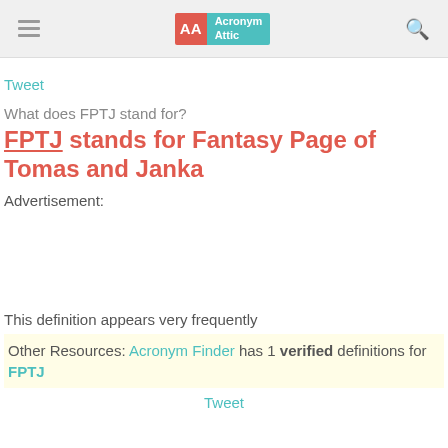Acronym Attic
Tweet
What does FPTJ stand for?
FPTJ stands for Fantasy Page of Tomas and Janka
Advertisement:
This definition appears very frequently
Other Resources: Acronym Finder has 1 verified definitions for FPTJ
Tweet